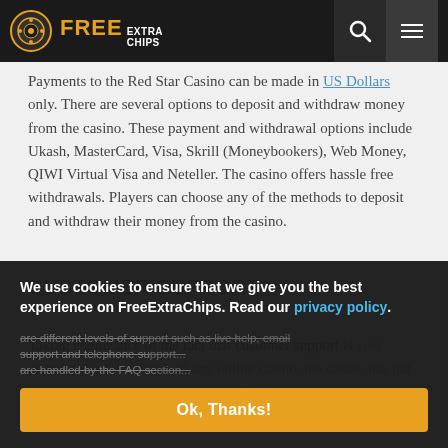FREE EXTRA CHIPS
Payments to the Red Star Casino can be made in US Dollars only. There are several options to deposit and withdraw money from the casino. These payment and withdrawal options include Ukash, MasterCard, Visa, Skrill (Moneybookers), Web Money, QIWI Virtual Visa and Neteller. The casino offers hassle free withdrawals. Players can choose any of the methods to deposit and withdraw their money from the casino.
CUSTOMER SUPPORT
Taking cognizance of the fact that customer support is very essential for the success of any online casino, the casino has put together several support facilities. There are different levels of support such as live help, email support and telephone support. Simple questions are handled by the FAQ section.
We use cookies to ensure that we give you the best experience on FreeExtraChips. Read our privacy policy. Ok, Thanks!